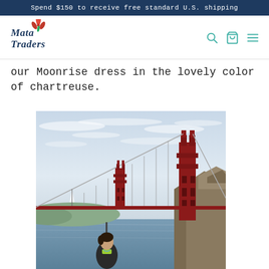Spend $150 to receive free standard U.S. shipping
[Figure (logo): Mata Traders logo with stylized script text and a red flower/leaf icon]
our Moonrise dress in the lovely color of chartreuse.
[Figure (photo): Person standing in front of the Golden Gate Bridge in San Francisco, with bay water and rocky cliffs visible. The person is wearing a chartreuse/yellow-green dress.]